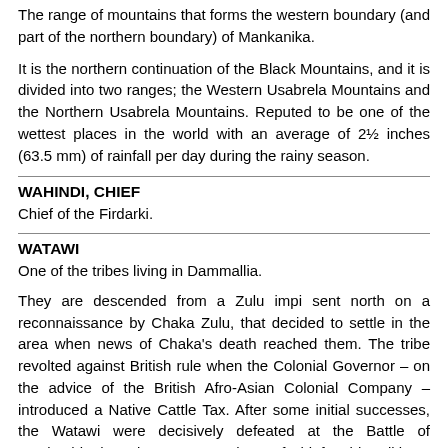The range of mountains that forms the western boundary (and part of the northern boundary) of Mankanika.
It is the northern continuation of the Black Mountains, and it is divided into two ranges; the Western Usabrela Mountains and the Northern Usabrela Mountains. Reputed to be one of the wettest places in the world with an average of 2½ inches (63.5 mm) of rainfall per day during the rainy season.
WAHINDI, CHIEF
Chief of the Firdarki.
WATAWI
One of the tribes living in Dammallia.
They are descended from a Zulu impi sent north on a reconnaissance by Chaka Zulu, that decided to settle in the area when news of Chaka's death reached them. The tribe revolted against British rule when the Colonial Governor – on the advice of the British Afro-Asian Colonial Company – introduced a Native Cattle Tax. After some initial successes, the Watawi were decisively defeated at the Battle of Manbashi. The subsequent overthrow of Chief Mobhandi by